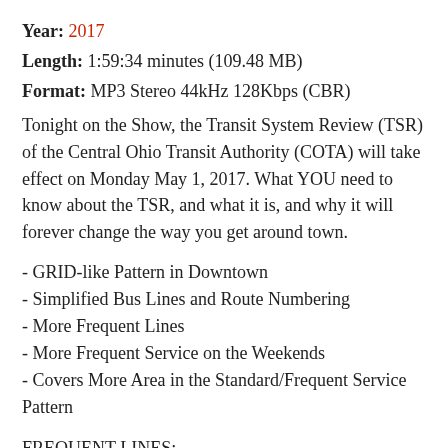Year: 2017
Length: 1:59:34 minutes (109.48 MB)
Format: MP3 Stereo 44kHz 128Kbps (CBR)
Tonight on the Show, the Transit System Review (TSR) of the Central Ohio Transit Authority (COTA) will take effect on Monday May 1, 2017. What YOU need to know about the TSR, and what it is, and why it will forever change the way you get around town.
- GRID-like Pattern in Downtown
- Simplified Bus Lines and Route Numbering
- More Frequent Lines
- More Frequent Service on the Weekends
- Covers More Area in the Standard/Frequent Service Pattern
FREQUENT LINES:
# 1 Kenny/Livingston (between Riverside Hospital & Reynoldsburg Park & Ride; Standard between Riverside Hospital and Sunmill Road)